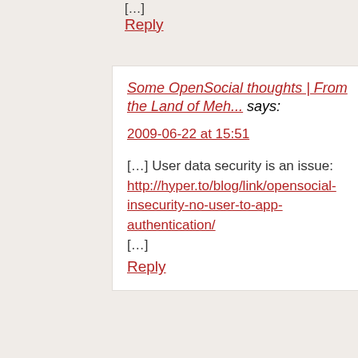[…]
Reply
Some OpenSocial thoughts | From the Land of Meh... says:
2009-06-22 at 15:51
[…] User data security is an issue: http://hyper.to/blog/link/opensocial-insecurity-no-user-to-app-authentication/ […]
Reply